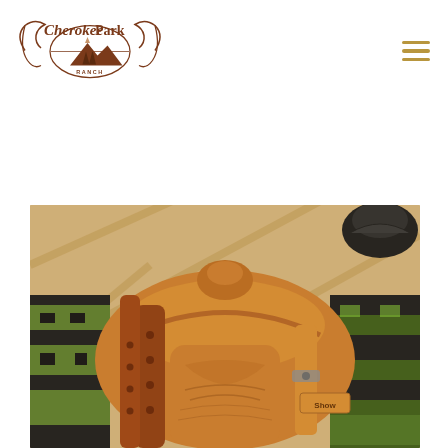[Figure (logo): Cherokee Park Ranch logo — brown decorative script and serif text with mountain/tree illustration inside an oval frame]
[Figure (photo): Close-up photograph of a western leather saddle with straps, buckles, and colorful Navajo-style saddle blanket in green/black/white pattern, resting on a wooden rack]